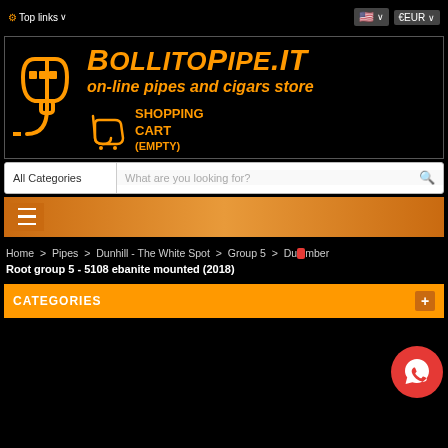⚙ Top links ∨   🇺🇸 ∨  €EUR ∨
[Figure (logo): BollitoPipe.IT logo with golden pipe icon and text 'BollitoPipe.IT on-line pipes and cigars store' on black background, with shopping cart icon showing SHOPPING CART (EMPTY)]
All Categories   What are you looking for?
[Figure (screenshot): Orange navigation bar with hamburger menu icon]
Home > Pipes > Dunhill - The White Spot > Group 5 > Dunhill Amber Root group 5 - 5108 ebanite mounted (2018)
CATEGORIES